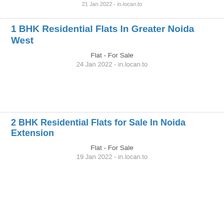21 Jan 2022 - in.locan.to
1 BHK Residential Flats In Greater Noida West
Flat - For Sale
24 Jan 2022 - in.locan.to
2 BHK Residential Flats for Sale In Noida Extension
Flat - For Sale
19 Jan 2022 - in.locan.to